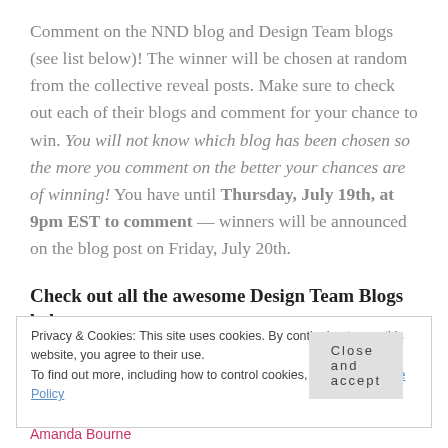Comment on the NND blog and Design Team blogs (see list below)! The winner will be chosen at random from the collective reveal posts. Make sure to check out each of their blogs and comment for your chance to win. You will not know which blog has been chosen so the more you comment on the better your chances are of winning! You have until Thursday, July 19th, at 9pm EST to comment — winners will be announced on the blog post on Friday, July 20th.
Check out all the awesome Design Team Blogs below to
Privacy & Cookies: This site uses cookies. By continuing to use this website, you agree to their use. To find out more, including how to control cookies, see here: Cookie Policy
Close and accept
Amanda Bourne